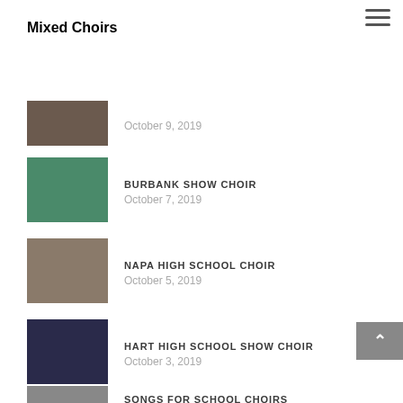Mixed Choirs
October 9, 2019
BURBANK SHOW CHOIR
October 7, 2019
NAPA HIGH SCHOOL CHOIR
October 5, 2019
HART HIGH SCHOOL SHOW CHOIR
October 3, 2019
SONGS FOR SCHOOL CHOIRS